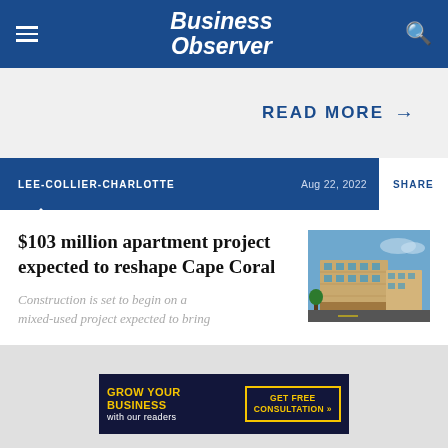Business Observer
READ MORE →
LEE-COLLIER-CHARLOTTE  Aug 22, 2022  SHARE
$103 million apartment project expected to reshape Cape Coral
[Figure (photo): Rendering of a modern multi-story apartment building with retail at street level in Cape Coral]
Construction is set to begin on a mixed-used project expected to bring
[Figure (infographic): Advertisement banner: GROW YOUR BUSINESS with our readers | GET FREE CONSULTATION »]